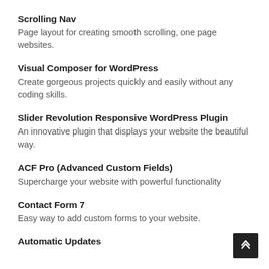Scrolling Nav
Page layout for creating smooth scrolling, one page websites.
Visual Composer for WordPress
Create gorgeous projects quickly and easily without any coding skills.
Slider Revolution Responsive WordPress Plugin
An innovative plugin that displays your website the beautiful way.
ACF Pro (Advanced Custom Fields)
Supercharge your website with powerful functionality
Contact Form 7
Easy way to add custom forms to your website.
Automatic Updates